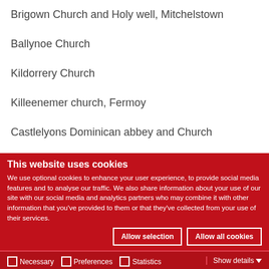Brigown Church and Holy well, Mitchelstown
Ballynoe Church
Kildorrery Church
Killeenemer church, Fermoy
Castlelyons Dominican abbey and Church
This website uses cookies
We use optional cookies to enhance your user experience, to provide social media features and to analyse our traffic. We also share information about your use of our site with our social media and analytics partners who may combine it with other information that you've provided to them or that they've collected from your use of their services.
Allow selection | Allow all cookies | Necessary | Preferences | Statistics | Marketing | Show details